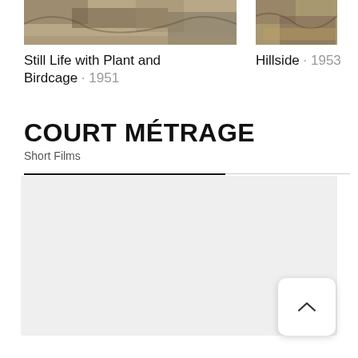[Figure (photo): Partial view of painting Still Life with Plant and Birdcage, 1951 — cropped top portion showing abstract painted forms]
[Figure (photo): Partial view of painting Hillside, 1953 — cropped top portion showing landscape painting]
Still Life with Plant and Birdcage · 1951
Hillside · 1953
COURT MÉTRAGE
Short Films
[Figure (other): Light gray rectangular content area placeholder for short film content]